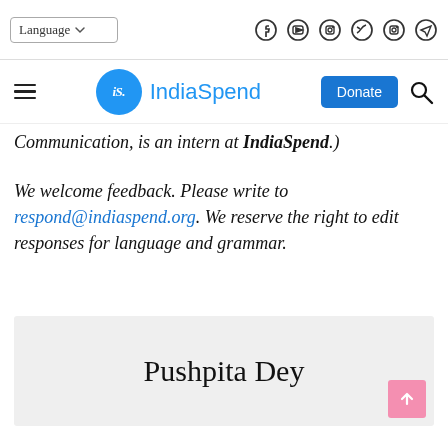Language | Social icons: Facebook, YouTube, Instagram, Twitter, Instagram, Telegram
IndiaSpend | Donate | Search
Communication, is an intern at IndiaSpend.)
We welcome feedback. Please write to respond@indiaspend.org. We reserve the right to edit responses for language and grammar.
Pushpita Dey